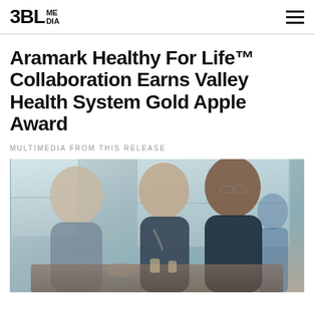3BL MEDIA
Aramark Healthy For Life™ Collaboration Earns Valley Health System Gold Apple Award
MULTIMEDIA FROM THIS RELEASE
[Figure (photo): Three healthcare workers in scrubs sitting at a restaurant/cafeteria table, smiling and conversing. Two nurses in dark navy scrubs are visible facing the camera, one with a stethoscope. A third person is seen from behind. They appear to be in a dining setting with large windows in the background.]